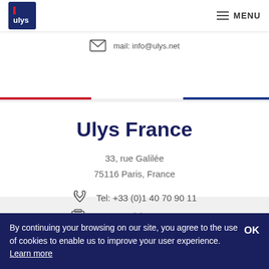ulys | MENU
mail: info@ulys.net
Ulys France
33, rue Galilée
75116 Paris, France
Tel: +33 (0)1 40 70 90 11
Fax: +33 (0)1 40 70 01 38
By continuing your browsing on our site, you agree to the use of cookies to enable us to improve your user experience. Learn more